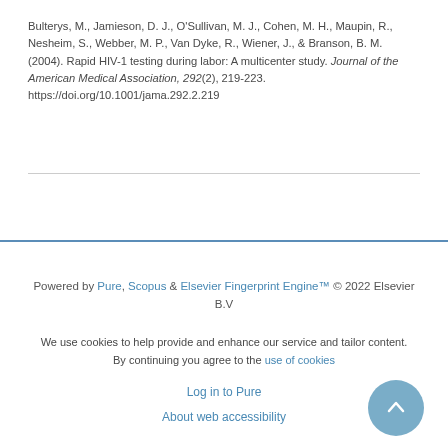Bulterys, M., Jamieson, D. J., O'Sullivan, M. J., Cohen, M. H., Maupin, R., Nesheim, S., Webber, M. P., Van Dyke, R., Wiener, J., & Branson, B. M. (2004). Rapid HIV-1 testing during labor: A multicenter study. Journal of the American Medical Association, 292(2), 219-223. https://doi.org/10.1001/jama.292.2.219
Powered by Pure, Scopus & Elsevier Fingerprint Engine™ © 2022 Elsevier B.V

We use cookies to help provide and enhance our service and tailor content. By continuing you agree to the use of cookies

Log in to Pure

About web accessibility